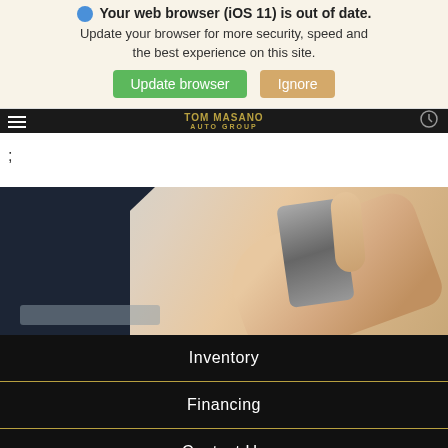Your web browser (iOS 11) is out of date. Update your browser for more security, speed and the best experience on this site.
Update browser | Ignore
;
[Figure (photo): Person holding a smartphone near a laptop keyboard, warm-toned lifestyle photo]
Inventory
Financing
Contact Us
Search | Saved | Share | Contact